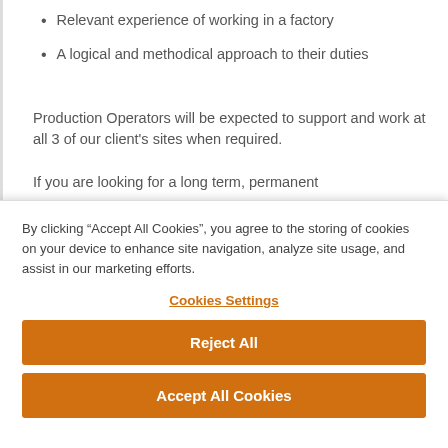Relevant experience of working in a factory
A logical and methodical approach to their duties
Production Operators will be expected to support and work at all 3 of our client's sites when required.
If you are looking for a long term, permanent
By clicking “Accept All Cookies”, you agree to the storing of cookies on your device to enhance site navigation, analyze site usage, and assist in our marketing efforts.
Cookies Settings
Reject All
Accept All Cookies